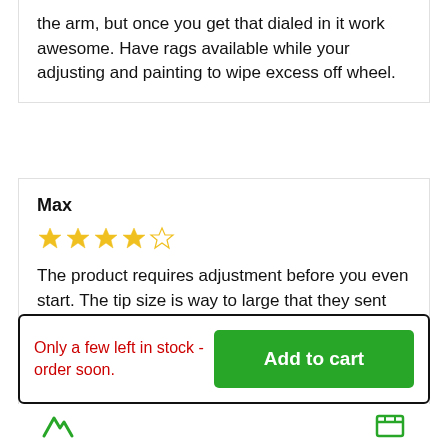the arm, but once you get that dialed in it work awesome. Have rags available while your adjusting and painting to wipe excess off wheel.
Max
[Figure (other): 4 out of 5 stars rating shown in yellow stars]
The product requires adjustment before you even start. The tip size is way to large that they sent with it . A 411 would work better for Walls. We adjusted.tip size. Worked great for what we used it for. A larger wheel extension would be required for larger tips.
Only a few left in stock - order soon.
Add to cart